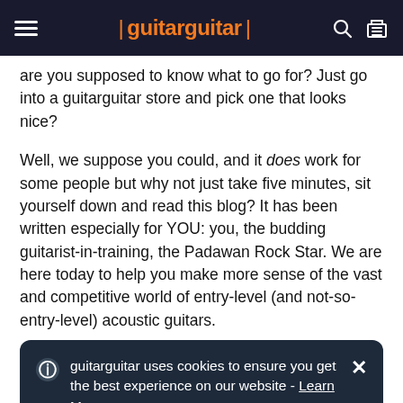guitarguitar
are you supposed to know what to go for? Just go into a guitarguitar store and pick one that looks nice?
Well, we suppose you could, and it does work for some people but why not just take five minutes, sit yourself down and read this blog? It has been written especially for YOU: you, the budding guitarist-in-training, the Padawan Rock Star. We are here today to help you make more sense of the vast and competitive world of entry-level (and not-so-entry-level) acoustic guitars.
[Figure (screenshot): Cookie consent banner with dark background reading: guitarguitar uses cookies to ensure you get the best experience on our website - Learn More]
three-quarter size guitars is probably its own article! For similar reasons we have also leaned more on steel strung